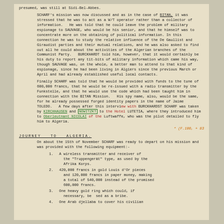presumed, was still at Sidi-Bel-Abbes.
SCHARF's mission was now discussed and as in the case of BITAN, it was stressed that he was to act as a W/T operator rather than a collector of information. He was told that he could leave the problem of military espionage to SAUVAGE, who would be his senior, and that he himself was to concentrate more on the obtaining of political information. In this connection he was to study the relative influence of the De Gaullist and Giraudist parties and their mutual relations, and he was also asked to find out all he could about the activities of the Algerian branches of the Communist Party. BURCKHARDT told him, however, that it would certainly be his duty to report any tit-bits of military information which came his way, though SAUVAGE was, on the whole, a better man to attend to that kind of espionage, since he had been living in Algiers since the previous March or April and had already established useful local contacts.
Finally SCHARF was told that he would be provided with funds to the tune of 600,000 francs, that he would be re-issued with a radio transmitter by the Funkstelle, and that he would use the code which had been taught him in connection with the BITAN Mission. His spy name, also, would be the same, for he already possessed forged identity papers in the name of Jaime TOLEDO. A few days after this interview with BURCKHARDST SCHARF was taken by KIRCHHAUSEN and NOWITZKT to the Hotel LUTETIA, where they introduced him to Oberleutnant NICOLAI of the Luftwaffe, who was the pilot detailed to fly him to Algeria.
* (F.100, + 83
JOURNEY TO ALGERIA.
On about the 15th of November SCHARF was ready to depart on his mission and was provided with the following equipment:-
1. A wireless transmitter and receiver of the "Truppengerät" type, as used by the Afrika Korps.
2. 420,000 francs in gold Louis d'Or pieces and 120,000 francs in paper money, making a total of 540,000 instead of the promised 600,000 francs.
3. One heavy gold ring which could, if necessary, be sed as a bribe.
4. One Arab djellaba to cover his civilian